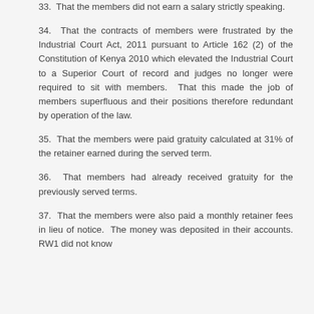33. That the members did not earn a salary strictly speaking.
34. That the contracts of members were frustrated by the Industrial Court Act, 2011 pursuant to Article 162 (2) of the Constitution of Kenya 2010 which elevated the Industrial Court to a Superior Court of record and judges no longer were required to sit with members. That this made the job of members superfluous and their positions therefore redundant by operation of the law.
35. That the members were paid gratuity calculated at 31% of the retainer earned during the served term.
36. That members had already received gratuity for the previously served terms.
37. That the members were also paid a monthly retainer fees in lieu of notice. The money was deposited in their accounts. RW1 did not know the claimant personally and did not know the...